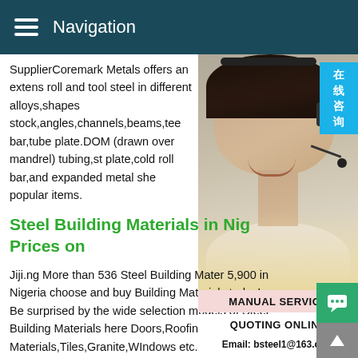Navigation
SupplierCoremark Metals offers an extens roll and tool steel in different alloys,shapes stock,angles,channels,beams,tee bar,tube plate.DOM (drawn over mandrel) tubing,st plate,cold roll bar,and expanded metal she popular items.
[Figure (photo): Photo of a smiling woman wearing a headset, with a Chinese blue badge reading '在线咨询' (Online Consultation)]
Steel Building Materials in Nig Prices on
MANUAL SERVICE
QUOTING ONLINE
Email: bsteel1@163.com
Jiji.ng More than 536 Steel Building Mater 5,900 in Nigeria choose and buy Building Materials today! Be surprised by the wide selection models of Steel Building Materials here Doors,Roofing Materials,Tiles,Granite,WIndows etc.JijiStainless Steel Plate Suppliers Euro Steel,South AfricaB Steel offers a diverse range of Stainless Steel Flat Rolled Products,which are available in Plate,Sheet and Coil,Stainless